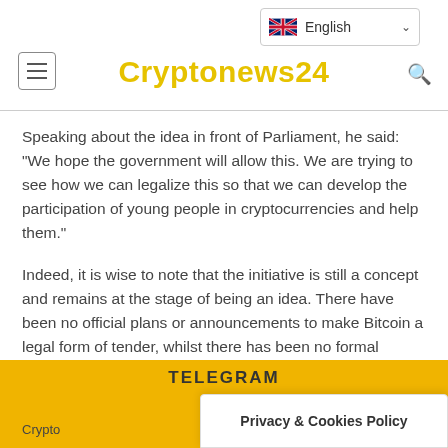Cryptonews24
Speaking about the idea in front of Parliament, he said: “We hope the government will allow this. We are trying to see how we can legalize this so that we can develop the participation of young people in cryptocurrencies and help them.”
Indeed, it is wise to note that the initiative is still a concept and remains at the stage of being an idea. There have been no official plans or announcements to make Bitcoin a legal form of tender, whilst there has been no formal presentation of legislation to try and change the
TELEGRAM
Crypto
Privacy & Cookies Policy